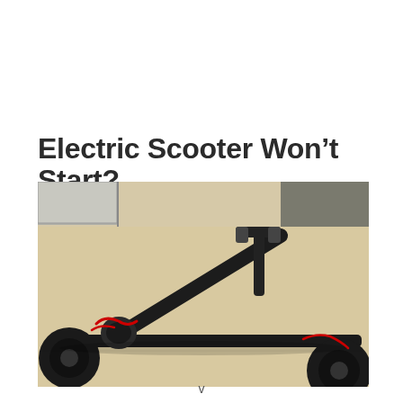Electric Scooter Won't Start?
[Figure (photo): Photo of a black electric scooter laid on its side on a beige surface, showing the folded stem/handlebar and red wiring visible near the hinge, with wheels visible on left and right edges.]
v